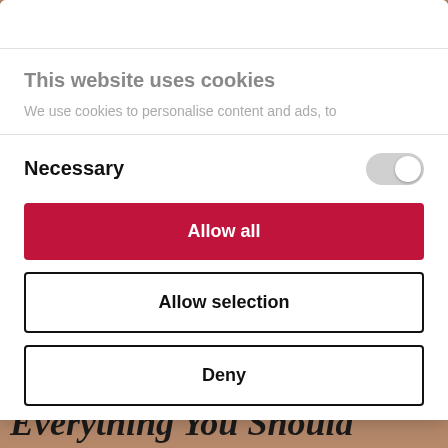[Figure (screenshot): Background image of a book or editorial content with brownish/tan tones, partially visible behind modal]
This website uses cookies
We use cookies to personalise content and ads, to
Necessary
Allow all
Allow selection
Deny
Powered by Cookiebot by Usercentrics
Everything You Should